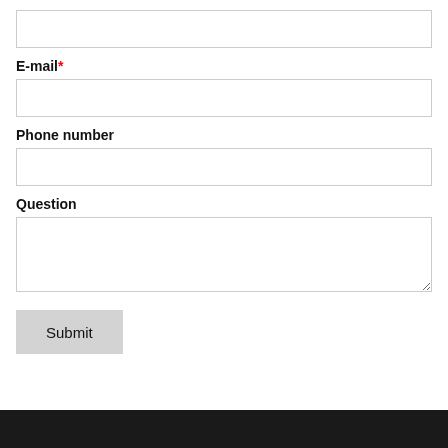[input field - top, unlabeled]
E-mail*
[input field - email]
Phone number
[input field - phone]
Question
[textarea - question]
Submit